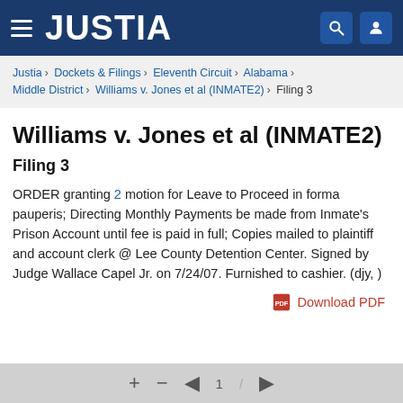JUSTIA
Justia › Dockets & Filings › Eleventh Circuit › Alabama › Middle District › Williams v. Jones et al (INMATE2) › Filing 3
Williams v. Jones et al (INMATE2)
Filing 3
ORDER granting 2 motion for Leave to Proceed in forma pauperis; Directing Monthly Payments be made from Inmate's Prison Account until fee is paid in full; Copies mailed to plaintiff and account clerk @ Lee County Detention Center. Signed by Judge Wallace Capel Jr. on 7/24/07. Furnished to cashier. (djy, )
Download PDF